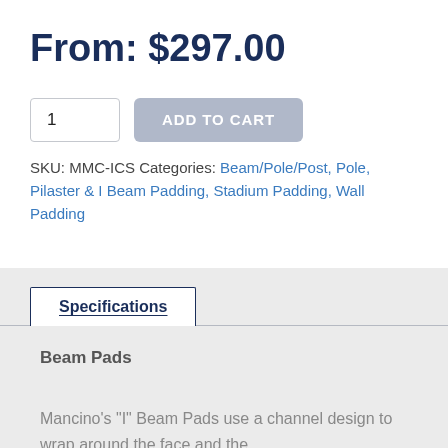From: $297.00
1  ADD TO CART
SKU: MMC-ICS Categories: Beam/Pole/Post, Pole, Pilaster & I Beam Padding, Stadium Padding, Wall Padding
Specifications
Beam Pads
Mancino's "I" Beam Pads use a channel design to wrap around the face and the